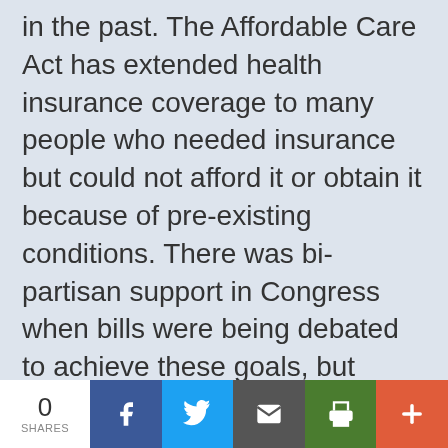in the past. The Affordable Care Act has extended health insurance coverage to many people who needed insurance but could not afford it or obtain it because of pre-existing conditions. There was bi-partisan support in Congress when bills were being debated to achieve these goals, but instead of pursuing a bi-partisan solution, the Affordable Care Act was pushed through on a strictly partisan basis with unusual parliamentary maneuvers. This process did not leave Congress the usual ability to fix problems with the
0 SHARES | Facebook | Twitter | Email | Print | More